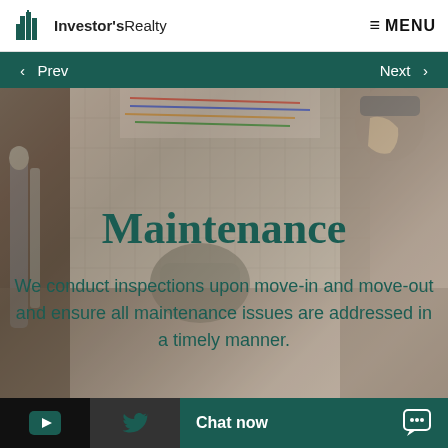Investor's Realty | MENU
‹ Prev   Next ›
[Figure (photo): A maintenance worker or technician working with plumbing or wiring, shown close-up with gloved hands and equipment]
Maintenance
We conduct inspections upon move-in and move-out and ensure all maintenance issues are addressed in a timely manner.
Chat now